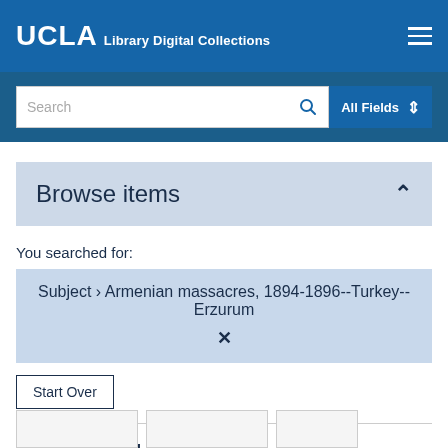UCLA Library Digital Collections
[Figure (screenshot): Search bar with 'Search' placeholder text, magnifying glass icon, and 'All Fields' dropdown selector on a dark blue background]
Browse items
You searched for:
Subject ❯ Armenian massacres, 1894-1896--Turkey--Erzurum
Start Over
21 Catalog Results